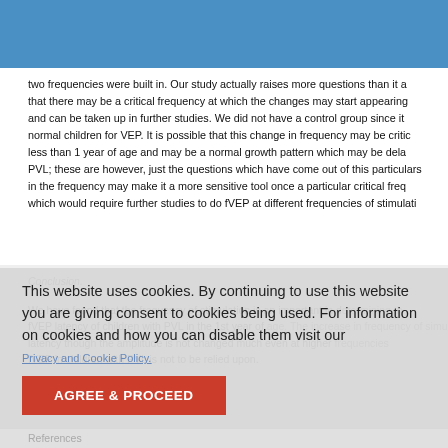two frequencies were built in. Our study actually raises more questions than it answers: that there may be a critical frequency at which the changes may start appearing in VEP, and can be taken up in further studies. We did not have a control group since it is difficult to get normal children for VEP. It is possible that this change in frequency may be critical only in children less than 1 year of age and may be a normal growth pattern which may be delayed in PVL; these are however, just the questions which have come out of this particular study. The change in the frequency may make it a more sensitive tool once a particular critical frequency is established which would require further studies to do fVEP at different frequencies of stimulation.
Conclusion.
We have found that the frequency of stimulation is an important in determining the fVEP latency of children with PVL in the 1st year of age. The increase in frequency of stimulation increases the latency though the amplitude is not changed much even at higher frequencies. Thus, fVEP in children with PVL is not to be relied upon.
References